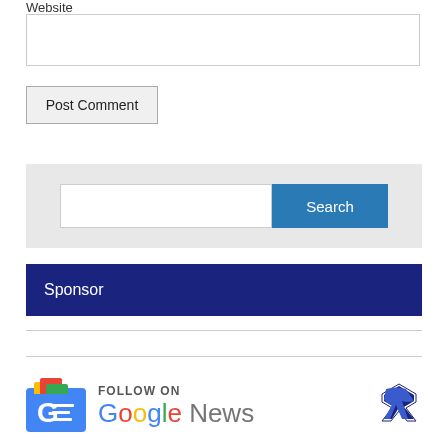Website
[Figure (screenshot): Website text input field (empty)]
[Figure (screenshot): Post Comment button]
[Figure (screenshot): Search box with text input and blue Search button]
Sponsor
[Figure (logo): Follow on Google News logo with Google News icon and Rivard Report logo mark]